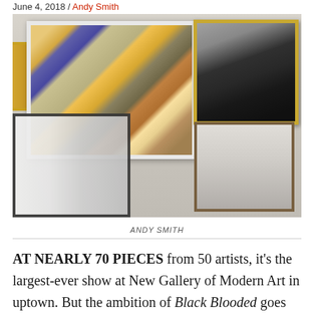June 4, 2018 / Andy Smith
[Figure (photo): Gallery installation view showing multiple framed artworks on white walls including a large colorful collage painting, a portrait bust sculpture in a gold frame, and other artworks.]
ANDY SMITH
AT NEARLY 70 PIECES from 50 artists, it's the largest-ever show at New Gallery of Modern Art in uptown. But the ambition of Black Blooded goes far